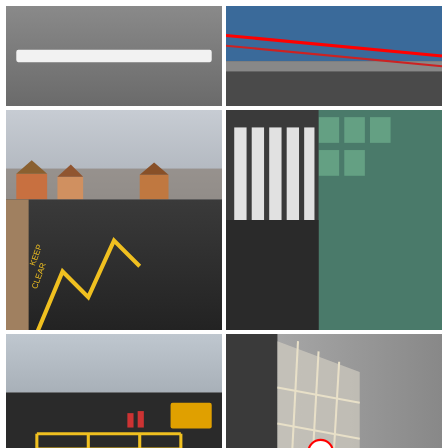[Figure (photo): Close-up of a white road line marking on grey tarmac]
[Figure (photo): Aerial/angled view of blue and red road markings on tarmac]
[Figure (photo): Street scene with yellow zig-zag no-parking road markings on a residential road]
[Figure (photo): Side of a building with vertical white stripes/slots on a dark grey wall, green glass building visible behind]
[Figure (photo): Car park with yellow box junction and disabled parking bay markings on tarmac, construction workers and vehicle visible]
[Figure (photo): Interior corridor view looking up at a glass/metal grid window with a no-entry sign, diagonal lines]